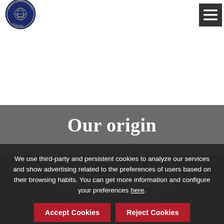[Figure (logo): Camara Arrocera del Montsià circular logo with ship/globe emblem in dark blue]
[Figure (other): Dark gray hamburger menu button in top right corner]
Our origin
guarantees the quality of the Protected Designation of Origin rice Delta
We use third-party and persistent cookies to analyze our services and show advertising related to the preferences of users based on their browsing habits. You can get more information and configure your preferences here.
Accept Cookies | Reject Cookies | Configure Cookies